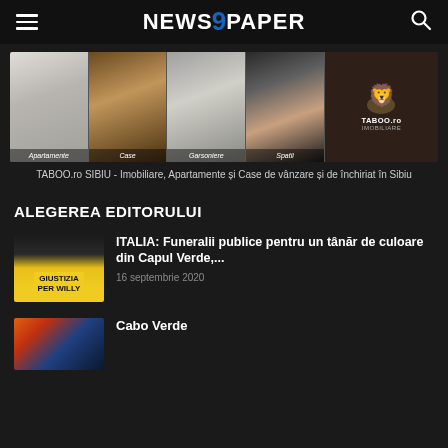[Figure (logo): NEWS9PAPER logo with hamburger menu icon on left and search icon on right on dark background]
[Figure (photo): TABOO.ro IMOBILIARE advertisement banner showing apartment, kitchen, garsoniere, and spatie room photos with a lion logo on dark brown background]
TABOO.ro SIBIU - Imobiliare, Apartamente și Case de vânzare și de închiriat în Sibiu
ALEGEREA EDITORULUI
[Figure (photo): Thumbnail showing crowd holding yellow GIUSTIZIA PER WILLY banner]
ITALIA: Funeralii publice pentru un tânăr de culoare din Capul Verde,...
16 septembrie 2020
[Figure (photo): Thumbnail showing Cabo Verde related image]
Cabo Verde